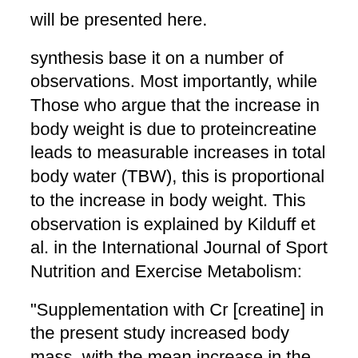will be presented here.
synthesis base it on a number of observations. Most importantly, while Those who argue that the increase in body weight is due to proteincreatine leads to measurable increases in total body water (TBW), this is proportional to the increase in body weight. This observation is explained by Kilduff et al. in the International Journal of Sport Nutrition and Exercise Metabolism:
"Supplementation with Cr [creatine] in the present study increased body mass, with the mean increase in the responder group greater than the placebo group after loading and maintenance. This increase in body mass cannot be explained by the increase in TBW, reflecting Cr-stimulated water retention, as there was